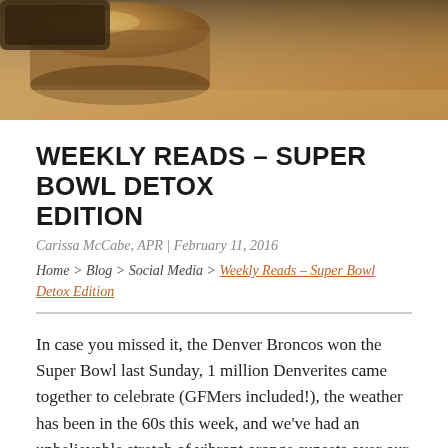[Figure (photo): Close-up photo of a rolled or curved object with warm brownish-tan tones, blurred background. Appears to be a leather or paper roll on a surface.]
WEEKLY READS – SUPER BOWL DETOX EDITION
Carissa McCabe, APR | February 11, 2016
Home > Blog > Social Media > Weekly Reads – Super Bowl Detox Edition
In case you missed it, the Denver Broncos won the Super Bowl last Sunday, 1 million Denverites came together to celebrate (GFMers included!), the weather has been in the 60s this week, and we've had an unbelievable stretch of vibrant orange sunsets over our snow-capped mountains. To say Denver residents are currently on cloud nine would be an understatement!